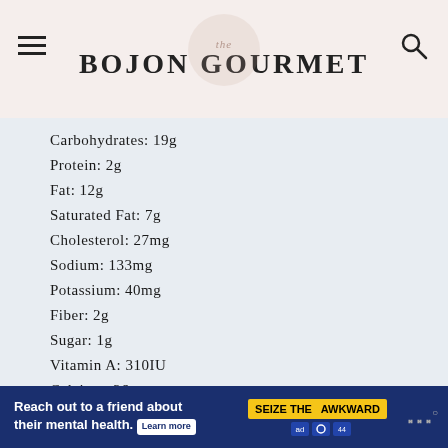the BOJON GOURMET
Carbohydrates: 19g
Protein: 2g
Fat: 12g
Saturated Fat: 7g
Cholesterol: 27mg
Sodium: 133mg
Potassium: 40mg
Fiber: 2g
Sugar: 1g
Vitamin A: 310IU
Calcium: 26mg
Iron: 0.6mg
[Figure (infographic): Advertisement banner: Reach out to a friend about their mental health. Learn more. SEIZE THE AWKWARD.]